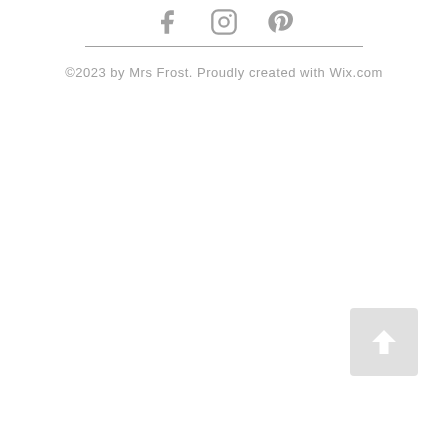[Figure (illustration): Social media icons: Facebook, Instagram, Pinterest in gray]
©2023 by Mrs Frost. Proudly created with Wix.com